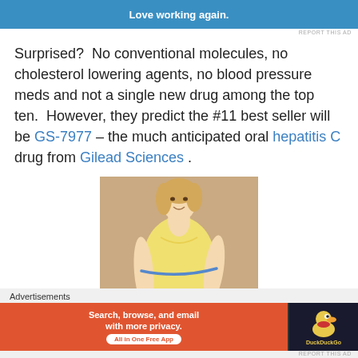[Figure (other): Blue advertisement banner with white bold text 'Love working again.']
REPORT THIS AD
Surprised?  No conventional molecules, no cholesterol lowering agents, no blood pressure meds and not a single new drug among the top ten.  However, they predict the #11 best seller will be GS-7977 – the much anticipated oral hepatitis C drug from Gilead Sciences .
[Figure (photo): Woman in yellow tank top measuring her waist with a blue tape measure, smiling, against a woven background.]
Advertisements
[Figure (other): DuckDuckGo advertisement banner: orange background with white text 'Search, browse, and email with more privacy. All in One Free App' and DuckDuckGo logo on dark right panel.]
REPORT THIS AD